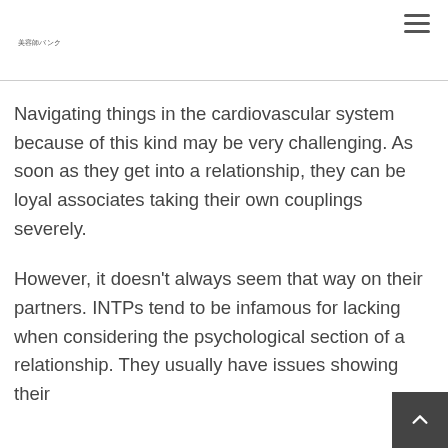美容師バンク
Navigating things in the cardiovascular system because of this kind may be very challenging. As soon as they get into a relationship, they can be loyal associates taking their own couplings severely.
However, it doesn't always seem that way on their partners. INTPs tend to be infamous for lacking when considering the psychological section of a relationship. They usually have issues showing their